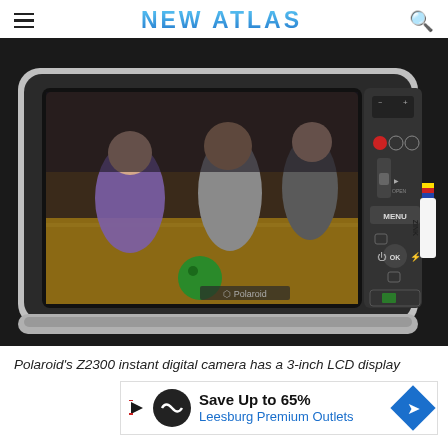NEW ATLAS
[Figure (photo): Back view of a Polaroid Z2300 instant digital camera showing a 3-inch LCD display with a photo of people bowling, control buttons including MENU and OK, and ZINK logo on the right side. Camera is silver and black.]
Polaroid's Z2300 instant digital camera has a 3-inch LCD display
[Figure (infographic): Advertisement banner: Save Up to 65% Leesburg Premium Outlets]